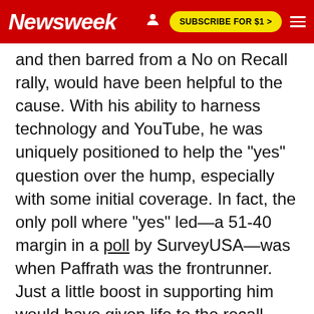Newsweek | SUBSCRIBE FOR $1 >
and then barred from a No on Recall rally, would have been helpful to the cause. With his ability to harness technology and YouTube, he was uniquely positioned to help the "yes" question over the hump, especially with some initial coverage. In fact, the only poll where "yes" led—a 51-40 margin in a poll by SurveyUSA—was when Paffrath was the frontrunner. Just a little boost in supporting him would have given life to the recall campaign overall and busted the narrative that it was a